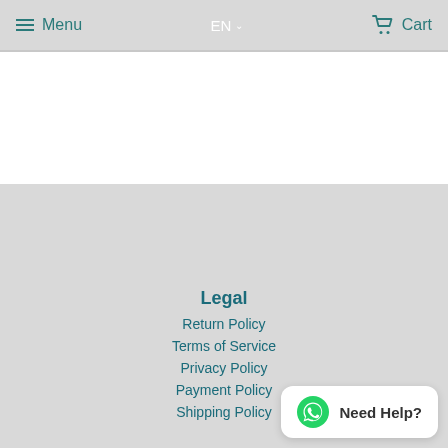Menu  EN  Cart
Legal
Return Policy
Terms of Service
Privacy Policy
Payment Policy
Shipping Policy
Need Help?